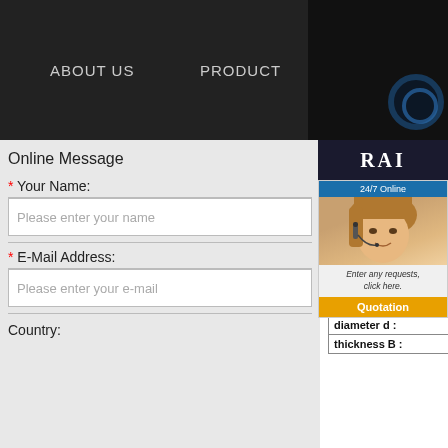ABOUT US    PRODUCT
Online Message
* Your Name:
Please enter your name
* E-Mail Address:
Please enter your e-mail
Country:
RAI
24/7 Online
Enter any requests, click here.
Quotation
TIMKEN
TIMKEN 2875
Categories：TIMKEN B
Please contact Email for any inqu
EMAIl:sale@topbearing-sa
| bearing name: |  |
| --- | --- |
| Brand model : |  |
| outer diameter D : |  |
| diameter d : |  |
| thickness B : |  |